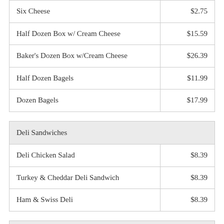| Item | Price |
| --- | --- |
| Six Cheese | $2.75 |
| Half Dozen Box w/ Cream Cheese | $15.59 |
| Baker's Dozen Box w/Cream Cheese | $26.39 |
| Half Dozen Bagels | $11.99 |
| Dozen Bagels | $17.99 |
| Deli Sandwiches |  |
| --- | --- |
| Deli Chicken Salad | $8.39 |
| Turkey & Cheddar Deli Sandwich | $8.39 |
| Ham & Swiss Deli | $8.39 |
| Sandwiches |  |
| --- | --- |